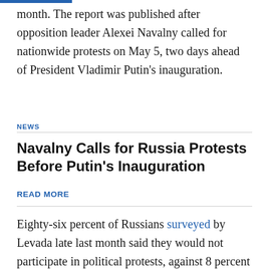month. The report was published after opposition leader Alexei Navalny called for nationwide protests on May 5, two days ahead of President Vladimir Putin’s inauguration.
NEWS
Navalny Calls for Russia Protests Before Putin’s Inauguration
READ MORE
Eighty-six percent of Russians surveyed by Levada late last month said they would not participate in political protests, against 8 percent who said they would.